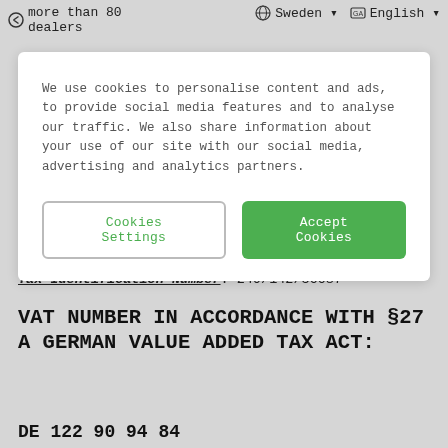✓ more than 80 dealers   🌐 Sweden ▾   🔤 English ▾
We use cookies to personalise content and ads, to provide social media features and to analyse our traffic. We also share information about your use of our site with our social media, advertising and analytics partners.
Cookies Settings   Accept Cookies
Tax Identification Number: 249/142/50087
VAT NUMBER IN ACCORDANCE WITH §27 A GERMAN VALUE ADDED TAX ACT:
DE 122 90 94 84